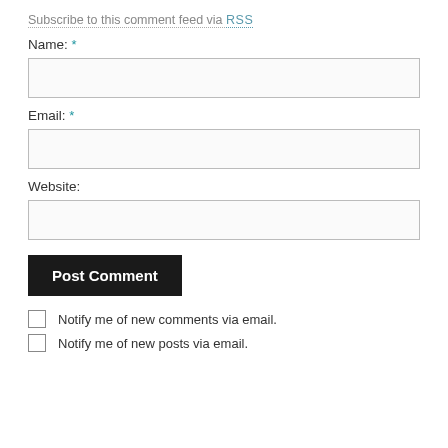Subscribe to this comment feed via RSS
Name: *
Email: *
Website:
Post Comment
Notify me of new comments via email.
Notify me of new posts via email.